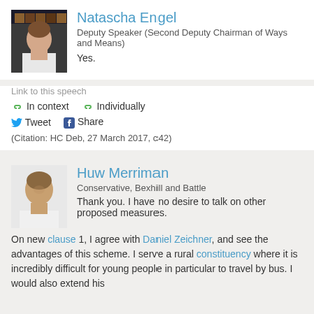[Figure (photo): Portrait photo of Natascha Engel]
Natascha Engel
Deputy Speaker (Second Deputy Chairman of Ways and Means)
Yes.
Link to this speech
In context   Individually
Tweet   Share
(Citation: HC Deb, 27 March 2017, c42)
[Figure (photo): Portrait photo of Huw Merriman]
Huw Merriman
Conservative, Bexhill and Battle
Thank you. I have no desire to talk on other proposed measures.
On new clause 1, I agree with Daniel Zeichner, and see the advantages of this scheme. I serve a rural constituency where it is incredibly difficult for young people in particular to travel by bus. I would also extend his